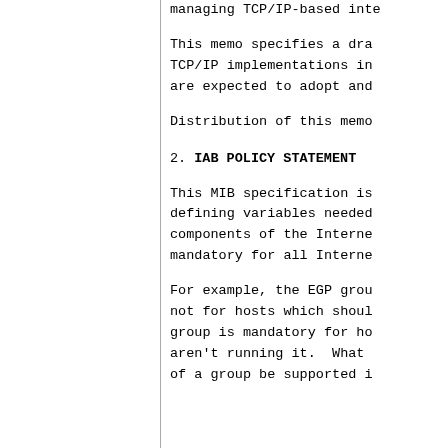managing TCP/IP-based inte
This memo specifies a dra TCP/IP implementations in are expected to adopt and
Distribution of this memo
2.  IAB POLICY STATEMENT
This MIB specification is defining variables needed components of the Interne mandatory for all Interne
For example, the EGP grou not for hosts which shoul group is mandatory for ho aren't running it.  What of a group be supported i